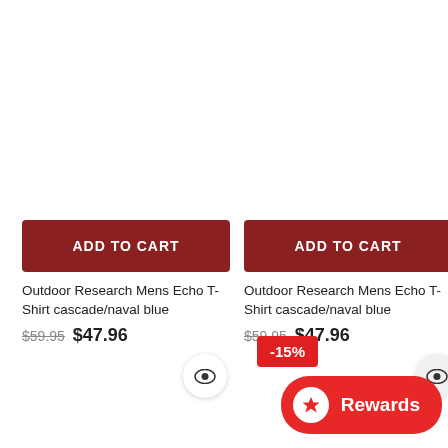[Figure (screenshot): ADD TO CART button for first product - dark red rounded rectangle]
Outdoor Research Mens Echo T-Shirt cascade/naval blue
$59.95  $47.96
[Figure (screenshot): ADD TO CART button for second product - dark red rounded rectangle]
Outdoor Research Mens Echo T-Shirt cascade/naval blue
$59.95  $47.96
[Figure (screenshot): Eye icon circle button on left card]
[Figure (screenshot): -15% discount badge on right card]
[Figure (screenshot): Eye icon circle button on right card]
[Figure (screenshot): Rewards button - red pill shape with star icon and Rewards text]